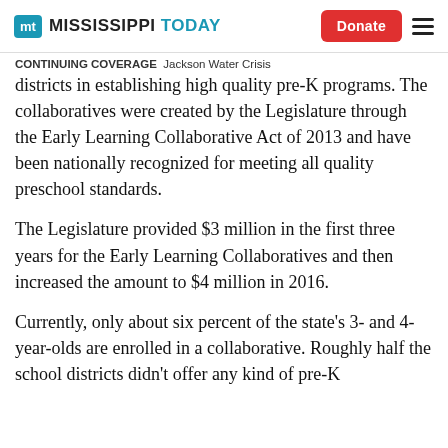Mississippi Today — Donate [button] ≡ [menu]
CONTINUING COVERAGE  Jackson Water Crisis
districts in establishing high quality pre-K programs. The collaboratives were created by the Legislature through the Early Learning Collaborative Act of 2013 and have been nationally recognized for meeting all quality preschool standards.
The Legislature provided $3 million in the first three years for the Early Learning Collaboratives and then increased the amount to $4 million in 2016.
Currently, only about six percent of the state's 3- and 4-year-olds are enrolled in a collaborative. Roughly half the school districts didn't offer any kind of pre-K